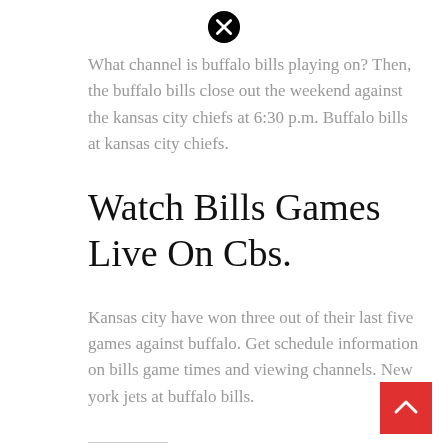[Figure (other): Close/X button icon at top center]
What channel is buffalo bills playing on? Then, the buffalo bills close out the weekend against the kansas city chiefs at 6:30 p.m. Buffalo bills at kansas city chiefs.
Watch Bills Games Live On Cbs.
Kansas city have won three out of their last five games against buffalo. Get schedule information on bills game times and viewing channels. New york jets at buffalo bills.
Related
How To Turn Off Airplay
How To Download Cinema